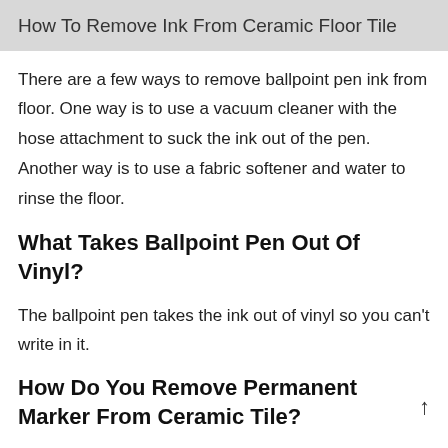How To Remove Ink From Ceramic Floor Tile
There are a few ways to remove ballpoint pen ink from floor. One way is to use a vacuum cleaner with the hose attachment to suck the ink out of the pen. Another way is to use a fabric softener and water to rinse the floor.
What Takes Ballpoint Pen Out Of Vinyl?
The ballpoint pen takes the ink out of vinyl so you can't write in it.
How Do You Remove Permanent Marker From Ceramic Tile?
Permanent marker can be removed from ceramic tiles by adding a solution of water and vinegar to a bucket and